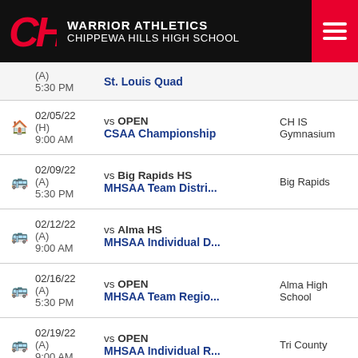WARRIOR ATHLETICS CHIPPEWA HILLS HIGH SCHOOL
(A) 5:30 PM St. Louis Quad
02/05/22 9:00 AM vs OPEN CSAA Championship CH IS Gymnasium (H)
02/09/22 5:30 PM vs Big Rapids HS MHSAA Team Distri... Big Rapids (A)
02/12/22 9:00 AM vs Alma HS MHSAA Individual D... (A)
02/16/22 5:30 PM vs OPEN MHSAA Team Regio... Alma High School (A)
02/19/22 9:00 AM vs OPEN MHSAA Individual R... Tri County (A)
02/20/22 vs Hartland HS (A)